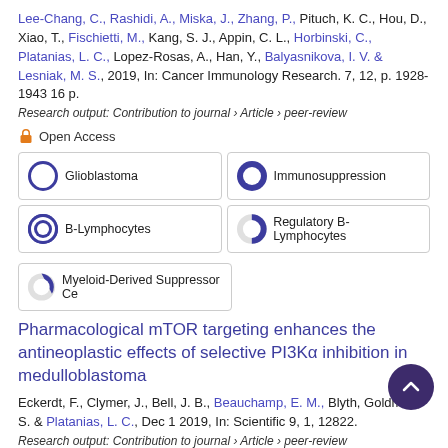Lee-Chang, C., Rashidi, A., Miska, J., Zhang, P., Pituch, K. C., Hou, D., Xiao, T., Fischietti, M., Kang, S. J., Appin, C. L., Horbinski, C., Platanias, L. C., Lopez-Rosas, A., Han, Y., Balyasnikova, I. V. & Lesniak, M. S., 2019, In: Cancer Immunology Research. 7, 12, p. 1928-1943 16 p.
Research output: Contribution to journal › Article › peer-review
Open Access
Glioblastoma
Immunosuppression
B-Lymphocytes
Regulatory B-Lymphocytes
Myeloid-Derived Suppressor Ce
Pharmacological mTOR targeting enhances the antineoplastic effects of selective PI3Kα inhibition in medulloblastoma
Eckerdt, F., Clymer, J., Bell, J. B., Beauchamp, E. M., Blyth, Goldman, S. & Platanias, L. C., Dec 1 2019, In: Scientific 9, 1, 12822.
Research output: Contribution to journal › Article › peer-review